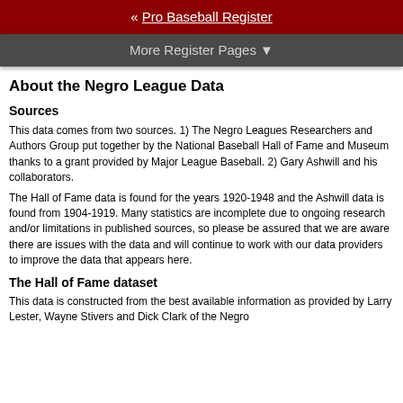« Pro Baseball Register
More Register Pages ▼
About the Negro League Data
Sources
This data comes from two sources. 1) The Negro Leagues Researchers and Authors Group put together by the National Baseball Hall of Fame and Museum thanks to a grant provided by Major League Baseball. 2) Gary Ashwill and his collaborators.
The Hall of Fame data is found for the years 1920-1948 and the Ashwill data is found from 1904-1919. Many statistics are incomplete due to ongoing research and/or limitations in published sources, so please be assured that we are aware there are issues with the data and will continue to work with our data providers to improve the data that appears here.
The Hall of Fame dataset
This data is constructed from the best available information as provided by Larry Lester, Wayne Stivers and Dick Clark of the Negro